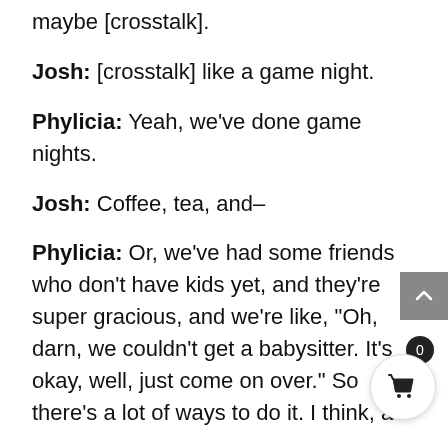maybe [crosstalk].
Josh: [crosstalk] like a game night.
Phylicia: Yeah, we’ve done game nights.
Josh: Coffee, tea, and–
Phylicia: Or, we’ve had some friends who don’t have kids yet, and they’re super gracious, and we’re like, “Oh, darn, we couldn’t get a babysitter. It’s okay, well, just come on over.” So there’s a lot of ways to do it. I think, a lot of ways to mix it up I suppose.